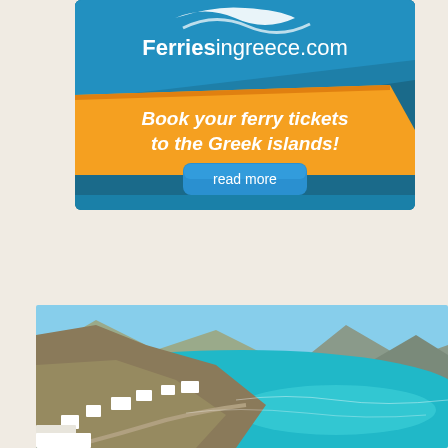[Figure (illustration): FerriеsinGreece.com advertisement banner with dark teal background, logo with bird/wave motif, orange diagonal banner reading 'Book your ferry tickets to the Greek islands!' and a 'read more' blue button]
[Figure (photo): Aerial photograph of a Greek island coastline (likely Mykonos) showing turquoise water, hillside with white buildings and villas, a curved bay, mountains in the background under a blue sky]